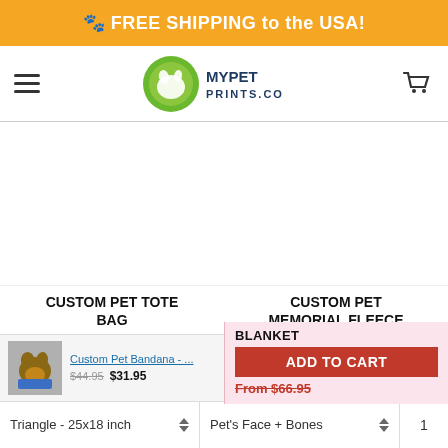🐾 FREE SHIPPING to the USA!
[Figure (logo): MyPetPrints.co logo with green circular badge and shopping cart icon]
CUSTOM PET TOTE BAG
CUSTOM PET MEMORIAL FLEECE BLANKET
ADD TO CART  From $66.95
Custom Pet Bandana - ...  $31.95  $44.95
Triangle - 25x18 inch
Pet's Face + Bones
1